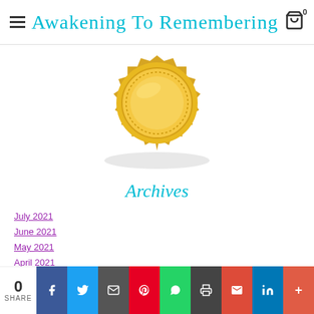Awakening To Remembering
[Figure (illustration): Gold award/seal badge with decorative border, shown from top portion, with shadow beneath]
Archives
July 2021
June 2021
May 2021
April 2021
March 2021
November 2020
0 SHARE — social sharing bar with Facebook, Twitter, Email, Pinterest, WhatsApp, Print, Gmail, LinkedIn, More